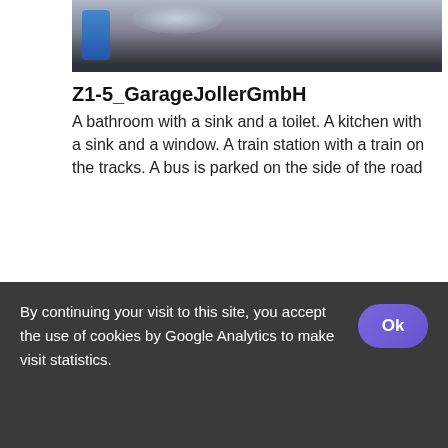[Figure (photo): Partial view of a bathroom or kitchen scene with blue object and reflective surfaces, top portion cropped]
Z1-5_GarageJollerGmbH
A bathroom with a sink and a toilet. A kitchen with a sink and a window. A train station with a train on the tracks. A bus is parked on the side of the road
[Figure (photo): 360-degree panoramic photo interior of a garage/bus station showing arched concrete ceiling, parked buses/vehicles, windows with greenery visible]
By continuing your visit to this site, you accept the use of cookies by Google Analytics to make visit statistics.